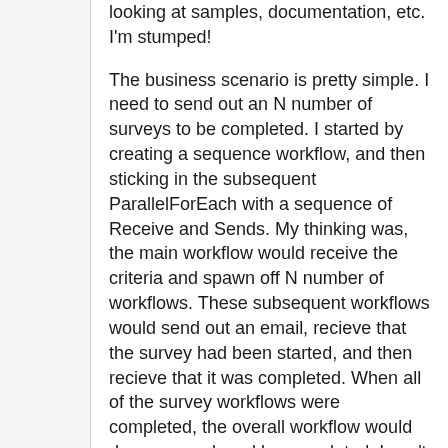looking at samples, documentation, etc. I'm stumped!
The business scenario is pretty simple. I need to send out an N number of surveys to be completed. I started by creating a sequence workflow, and then sticking in the subsequent ParallelForEach with a sequence of Receive and Sends. My thinking was, the main workflow would receive the criteria and spawn off N number of workflows. These subsequent workflows would send out an email, recieve that the survey had been started, and then recieve that it was completed. When all of the survey workflows were completed, the overall workflow would do some work and be completed. I can't seem to get the correlation to work. BTW, this is a WCF Workflow Service Application